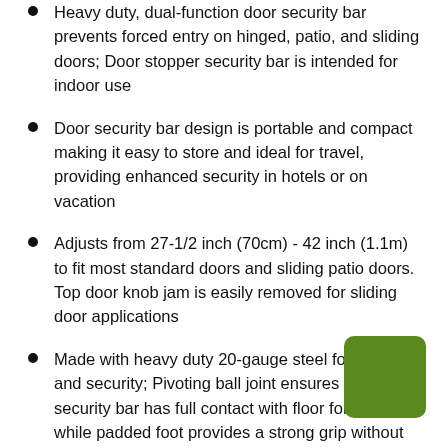Heavy duty, dual-function door security bar prevents forced entry on hinged, patio, and sliding doors; Door stopper security bar is intended for indoor use
Door security bar design is portable and compact making it easy to store and ideal for travel, providing enhanced security in hotels or on vacation
Adjusts from 27-1/2 inch (70cm) - 42 inch (1.1m) to fit most standard doors and sliding patio doors. Top door knob jam is easily removed for sliding door applications
Made with heavy duty 20-gauge steel for strength and security; Pivoting ball joint ensures door security bar has full contact with floor for secure fit while padded foot provides a strong grip without scratching
No tools required, simply adjust the bar length using